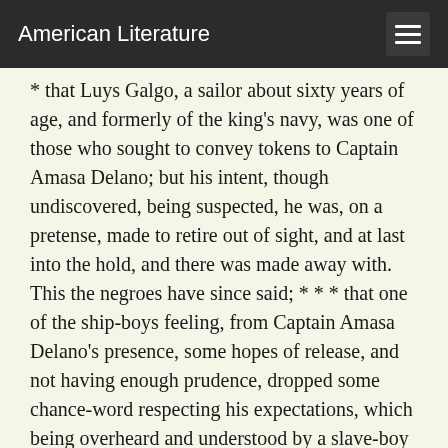American Literature
* that Luys Galgo, a sailor about sixty years of age, and formerly of the king's navy, was one of those who sought to convey tokens to Captain Amasa Delano; but his intent, though undiscovered, being suspected, he was, on a pretense, made to retire out of sight, and at last into the hold, and there was made away with. This the negroes have since said; * * * that one of the ship-boys feeling, from Captain Amasa Delano's presence, some hopes of release, and not having enough prudence, dropped some chance-word respecting his expectations, which being overheard and understood by a slave-boy with whom he was eating at the time, the latter